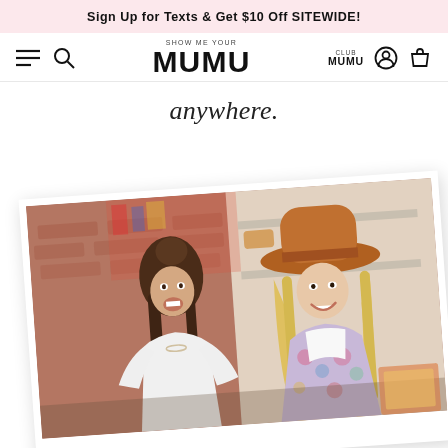Sign Up for Texts & Get $10 Off SITEWIDE!
[Figure (screenshot): Show Me Your MUMU website navigation bar with hamburger menu, search icon, MUMU logo, Club MUMU link, user icon, and bag icon]
anywhere.
[Figure (photo): Two women sitting and laughing inside a boutique shop. The woman on the left has dark hair and wears a white blouse. The woman on the right wears a brown wide-brim hat, blonde hair, and a floral print jacket. Photo is displayed as a tilted polaroid-style print.]